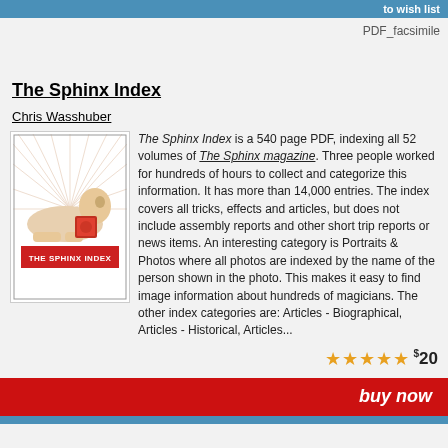to wish list
PDF_facsimile
The Sphinx Index
Chris Wasshuber
[Figure (illustration): Book cover of The Sphinx Index showing a sphinx illustration with radiating lines and red banner with title text THE SPHINX INDEX]
The Sphinx Index is a 540 page PDF, indexing all 52 volumes of The Sphinx magazine. Three people worked for hundreds of hours to collect and categorize this information. It has more than 14,000 entries. The index covers all tricks, effects and articles, but does not include assembly reports and other short trip reports or news items. An interesting category is Portraits & Photos where all photos are indexed by the name of the person shown in the photo. This makes it easy to find image information about hundreds of magicians. The other index categories are: Articles - Biographical, Articles - Historical, Articles...
★★★★★ $20
buy now